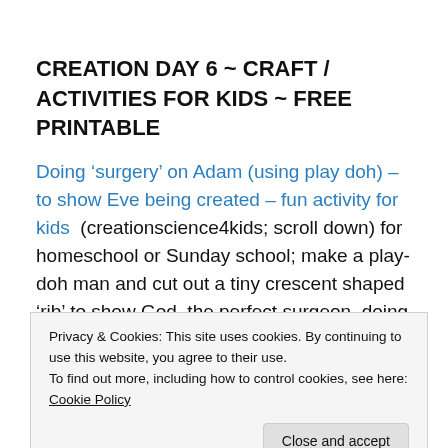CREATION DAY 6 ~ CRAFT / ACTIVITIES FOR KIDS ~ FREE PRINTABLE
Doing ‘surgery’ on Adam (using play doh) – to show Eve being created – fun activity for kids  (creationscience4kids; scroll down) for homeschool or Sunday school; make a play-doh man and cut out a tiny crescent shaped ‘rib’ to show God, the perfect surgeon, doing the very first
Privacy & Cookies: This site uses cookies. By continuing to use this website, you agree to their use.
To find out more, including how to control cookies, see here: Cookie Policy
[Close and accept]
Adam and the Animals – sort file folder game